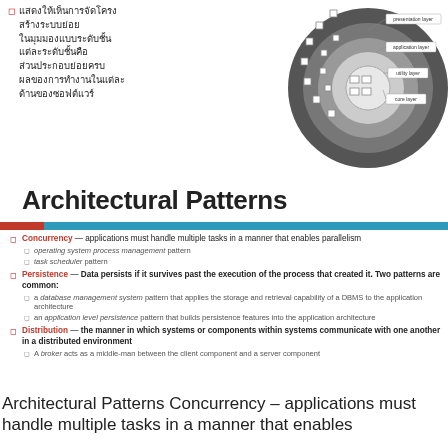แสดงให้เห็นการจัดโครงสร้างระบบย่อยในมุมมองแบบระดับชั้น แต่ละระดับชั้นคือส่วนประกอบย่อยครบผลของการทำงานในแต่ละด้านของซอฟต์แวร์
[Figure (engineering-diagram): Concentric circular layered architecture diagram showing layers: presentation layer (outermost), application layer, utility layer, and core layer (innermost), with small rectangular component blocks arranged around the layers.]
Architectural Patterns
Concurrency — applications must handle multiple tasks in a manner that enables parallelism
operating system process management pattern
task scheduler pattern
Persistence — Data persists if it survives past the execution of the process that created it. Two patterns are common:
a database management system pattern that applies the storage and retrieval capability of a DBMS to the application architecture
an application level persistence pattern that builds persistence features into the application architecture
Distribution — the manner in which systems or components within systems communicate with one another in a distributed environment
A broker acts as a middle-man between the client component and a server component
Architectural Patterns Concurrency – applications must handle multiple tasks in a manner that enables